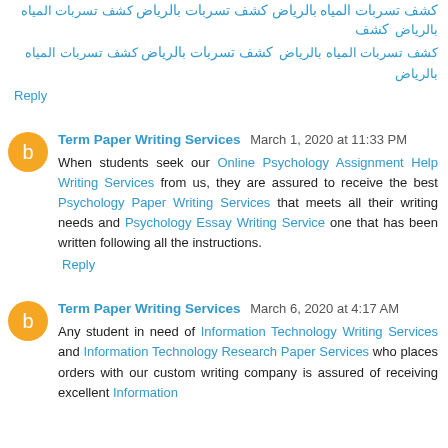كشف تسربات المياه بالرياض كشف تسربات بالرياض كشف تسربات المياه بالرياض
كشف تسربات المياه بالرياض كشف تسربات بالرياض
Reply
Term Paper Writing Services March 1, 2020 at 11:33 PM
When students seek our Online Psychology Assignment Help Writing Services from us, they are assured to receive the best Psychology Paper Writing Services that meets all their writing needs and Psychology Essay Writing Service one that has been written following all the instructions.
Reply
Term Paper Writing Services March 6, 2020 at 4:17 AM
Any student in need of Information Technology Writing Services and Information Technology Research Paper Services who places orders with our custom writing company is assured of receiving excellent Information